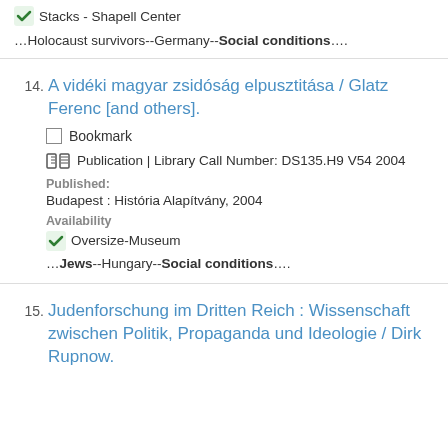Stacks - Shapell Center
…Holocaust survivors--Germany--Social conditions….
14. A vidéki magyar zsidóság elpusztitása / Glatz Ferenc [and others].
Bookmark
Publication | Library Call Number: DS135.H9 V54 2004
Published: Budapest : História Alapítvány, 2004
Availability
Oversize-Museum
…Jews--Hungary--Social conditions….
15. Judenforschung im Dritten Reich : Wissenschaft zwischen Politik, Propaganda und Ideologie / Dirk Rupnow.